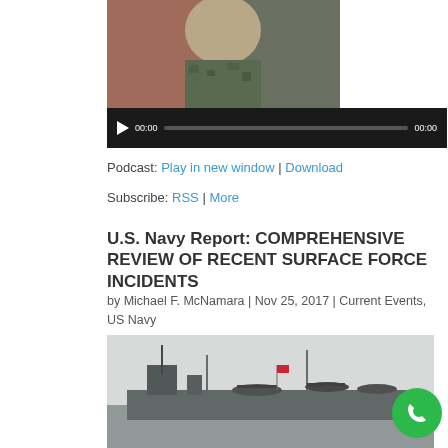[Figure (photo): Portrait photo of a person in military camouflage uniform, partially cropped]
[Figure (screenshot): Audio podcast player bar with play button, timestamp 00:00 and 00:00, and progress bar on dark background]
Podcast: Play in new window | Download
Subscribe: RSS | More
U.S. Navy Report: COMPREHENSIVE REVIEW OF RECENT SURFACE FORCE INCIDENTS
by Michael F. McNamara | Nov 25, 2017 | Current Events, US Navy
[Figure (photo): Black and white photo of U.S. Navy aircraft carrier with aircraft on deck and ship structures visible]